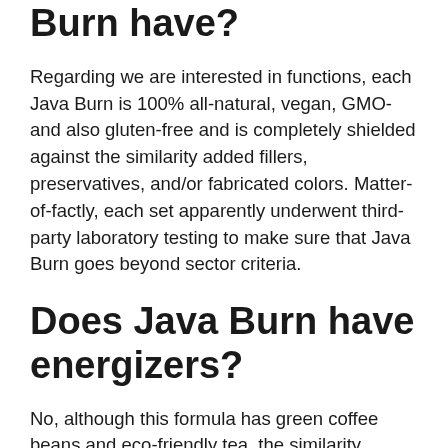Burn have?
Regarding we are interested in functions, each Java Burn is 100% all-natural, vegan, GMO- and also gluten-free and is completely shielded against the similarity added fillers, preservatives, and/or fabricated colors. Matter-of-factly, each set apparently underwent third-party laboratory testing to make sure that Java Burn goes beyond sector criteria.
Does Java Burn have energizers?
No, although this formula has green coffee beans and eco-friendly tea, the similarity chlorogenic acid and EGCG are claimed to